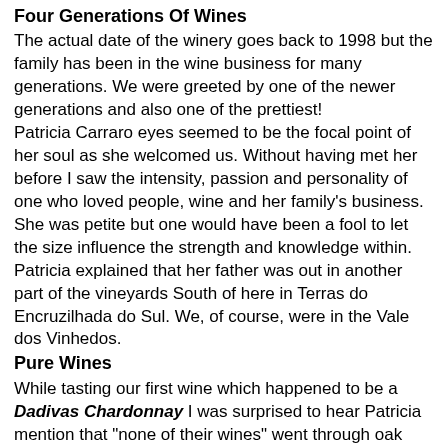Four Generations Of Wines
The actual date of the winery goes back to 1998 but the family has been in the wine business for many generations. We were greeted by one of the newer generations and also one of the prettiest!
Patricia Carraro eyes seemed to be the focal point of her soul as she welcomed us. Without having met her before I saw the intensity, passion and personality of one who loved people, wine and her family's business. She was petite but one would have been a fool to let the size influence the strength and knowledge within.
Patricia explained that her father was out in another part of the vineyards South of here in Terras do Encruzilhada do Sul. We, of course, were in the Vale dos Vinhedos.
Pure Wines
While tasting our first wine which happened to be a Dadivas Chardonnay I was surprised to hear Patricia mention that "none of their wines" went through oak fermentation or aging. I had thought that I detected a slight hint of oak on both the nose and the palate but Patricia mentioned that oak was not permitted since they only wanted the purest reflection of varietal character in their wines.